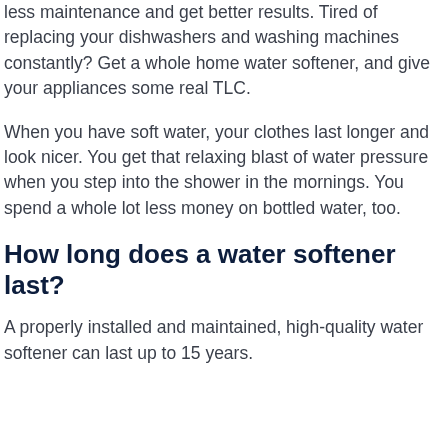less maintenance and get better results. Tired of replacing your dishwashers and washing machines constantly? Get a whole home water softener, and give your appliances some real TLC.
When you have soft water, your clothes last longer and look nicer. You get that relaxing blast of water pressure when you step into the shower in the mornings. You spend a whole lot less money on bottled water, too.
How long does a water softener last?
A properly installed and maintained, high-quality water softener can last up to 15 years.